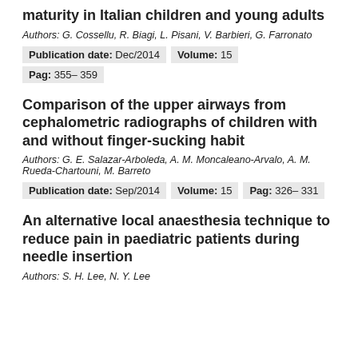maturity in Italian children and young adults
Authors: G. Cossellu, R. Biagi, L. Pisani, V. Barbieri, G. Farronato
Publication date: Dec/2014   Volume: 15
Pag: 355– 359
Comparison of the upper airways from cephalometric radiographs of children with and without finger-sucking habit
Authors: G. E. Salazar-Arboleda, A. M. Moncaleano-Arvalo, A. M. Rueda-Chartouni, M. Barreto
Publication date: Sep/2014   Volume: 15   Pag: 326– 331
An alternative local anaesthesia technique to reduce pain in paediatric patients during needle insertion
Authors: S. H. Lee, N. Y. Lee